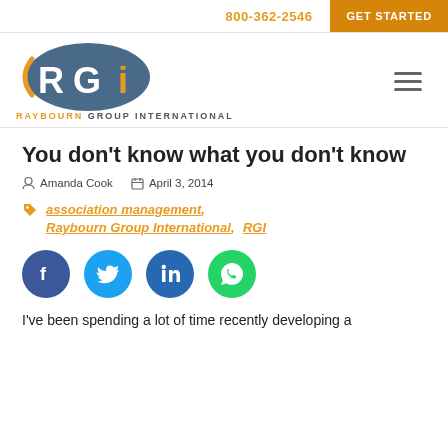800-362-2546  GET STARTED
[Figure (logo): Raybourn Group International logo — RGI letters in a dark blue oval with orange swoosh, company name below]
You don’t know what you don’t know
Amanda Cook  April 3, 2014
association management, Raybourn Group International, RGI
[Figure (infographic): Social share buttons: Facebook, Twitter, LinkedIn, WhatsApp]
I’ve been spending a lot of time recently developing a